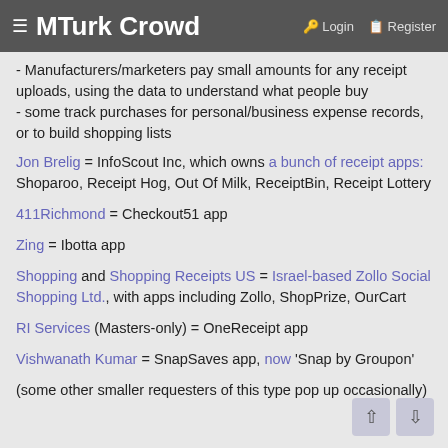≡ MTurk Crowd  🔑 Login  🗒 Register
- Manufacturers/marketers pay small amounts for any receipt uploads, using the data to understand what people buy
- some track purchases for personal/business expense records, or to build shopping lists
Jon Brelig = InfoScout Inc, which owns a bunch of receipt apps: Shoparoo, Receipt Hog, Out Of Milk, ReceiptBin, Receipt Lottery
411Richmond = Checkout51 app
Zing = Ibotta app
Shopping and Shopping Receipts US = Israel-based Zollo Social Shopping Ltd., with apps including Zollo, ShopPrize, OurCart
RI Services (Masters-only) = OneReceipt app
Vishwanath Kumar = SnapSaves app, now 'Snap by Groupon'
(some other smaller requesters of this type pop up occasionally)